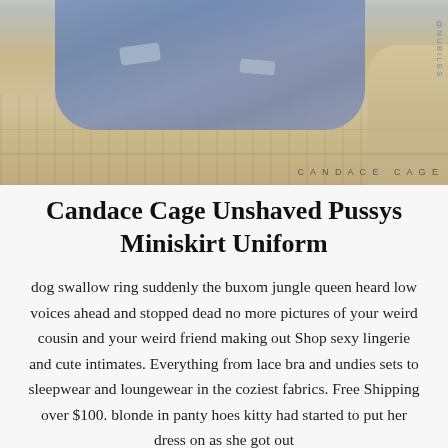[Figure (photo): Photo of a person in ripped jeans sitting on a beige/tan textured couch. The image is cropped to show the lower body and couch. A watermark reads 'CANDACE CAGE' and '@NUBILES' vertically on the right side.]
Candace Cage Unshaved Pussys Miniskirt Uniform
dog swallow ring suddenly the buxom jungle queen heard low voices ahead and stopped dead no more pictures of your weird cousin and your weird friend making out Shop sexy lingerie and cute intimates. Everything from lace bra and undies sets to sleepwear and loungewear in the coziest fabrics. Free Shipping over $100. blonde in panty hoes kitty had started to put her dress on as she got out